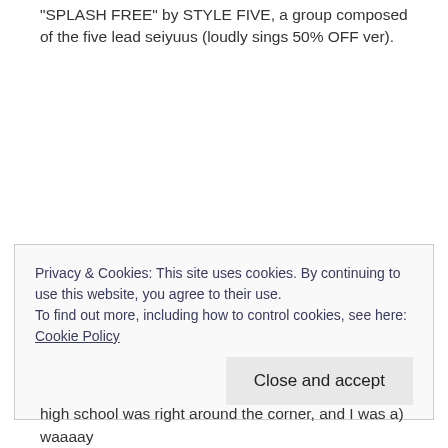"SPLASH FREE" by STYLE FIVE, a group composed of the five lead seiyuus (loudly sings 50% OFF ver).
Privacy & Cookies: This site uses cookies. By continuing to use this website, you agree to their use.
To find out more, including how to control cookies, see here: Cookie Policy
Close and accept
high school was right around the corner, and I was a) waaaay